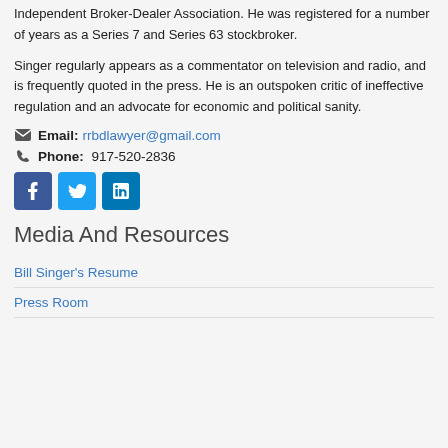Independent Broker-Dealer Association. He was registered for a number of years as a Series 7 and Series 63 stockbroker.
Singer regularly appears as a commentator on television and radio, and is frequently quoted in the press. He is an outspoken critic of ineffective regulation and an advocate for economic and political sanity.
Email: rrbdlawyer@gmail.com
Phone: 917-520-2836
[Figure (other): Social media icons: Facebook, Twitter, LinkedIn]
Media And Resources
Bill Singer's Resume
Press Room